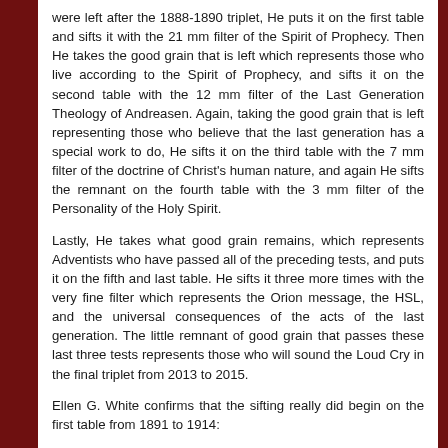were left after the 1888-1890 triplet, He puts it on the first table and sifts it with the 21 mm filter of the Spirit of Prophecy. Then He takes the good grain that is left which represents those who live according to the Spirit of Prophecy, and sifts it on the second table with the 12 mm filter of the Last Generation Theology of Andreasen. Again, taking the good grain that is left representing those who believe that the last generation has a special work to do, He sifts it on the third table with the 7 mm filter of the doctrine of Christ's human nature, and again He sifts the remnant on the fourth table with the 3 mm filter of the Personality of the Holy Spirit.
Lastly, He takes what good grain remains, which represents Adventists who have passed all of the preceding tests, and puts it on the fifth and last table. He sifts it three more times with the very fine filter which represents the Orion message, the HSL, and the universal consequences of the acts of the last generation. The little remnant of good grain that passes these last three tests represents those who will sound the Loud Cry in the final triplet from 2013 to 2015.
Ellen G. White confirms that the sifting really did begin on the first table from 1891 to 1914: